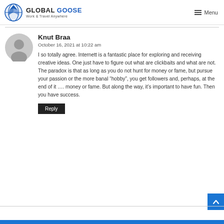GLOBAL GOOSE Work & Travel Anywhere | Menu
Knut Braa
October 16, 2021 at 10:22 am
I so totally agree. Internett is a fantastic place for exploring and receiving creative ideas. One just have to figure out what are clickbaits and what are not. The paradox is that as long as you do not hunt for money or fame, but pursue your passion or the more banal “hobby”, you get followers and, perhaps, at the end of it …. money or fame. But along the way, it’s important to have fun. Then you have success.
Reply